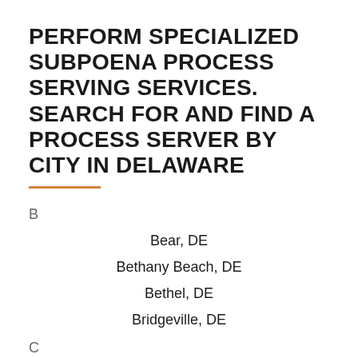PERFORM SPECIALIZED SUBPOENA PROCESS SERVING SERVICES. SEARCH FOR AND FIND A PROCESS SERVER BY CITY IN DELAWARE
B
Bear, DE
Bethany Beach, DE
Bethel, DE
Bridgeville, DE
C
Camden-Wyoming, DE